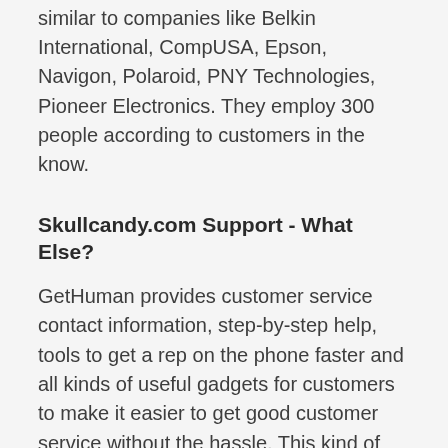similar to companies like Belkin International, CompUSA, Epson, Navigon, Polaroid, PNY Technologies, Pioneer Electronics. They employ 300 people according to customers in the know.
Skullcandy.com Support - What Else?
GetHuman provides customer service contact information, step-by-step help, tools to get a rep on the phone faster and all kinds of useful gadgets for customers to make it easier to get good customer service without the hassle. This kind of information and tooling can be very useful for large companies who tend to make it hard to speak to a real human being to solve complicated customer problems. For example, look at our UPS Customer Service page. Or take a look at our Costco Customer Service page. We